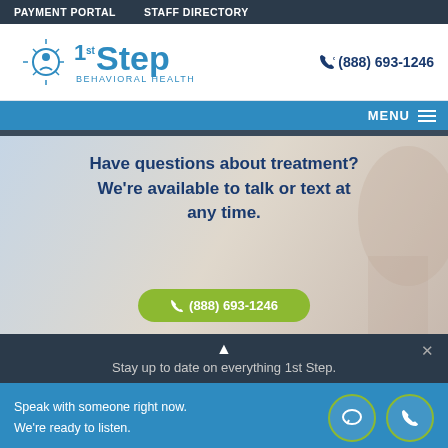PAYMENT PORTAL   STAFF DIRECTORY
[Figure (logo): 1st Step Behavioral Health logo with sun/person icon and phone number (888) 693-1246]
MENU
[Figure (photo): Background photo of person, with overlay text: Have questions about treatment? We're available to talk or text at any time. Green button with (888) 693-1246]
Stay up to date on everything 1st Step.
Speak with someone right now. We're ready to listen.